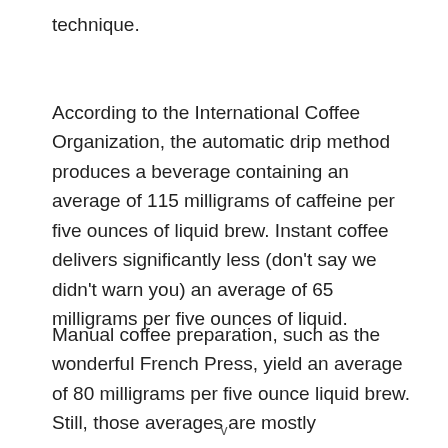technique.
According to the International Coffee Organization, the automatic drip method produces a beverage containing an average of 115 milligrams of caffeine per five ounces of liquid brew. Instant coffee delivers significantly less (don’t say we didn’t warn you) an average of 65 milligrams per five ounces of liquid.
Manual coffee preparation, such as the wonderful French Press, yield an average of 80 milligrams per five ounce liquid brew. Still, those averages are mostly
v